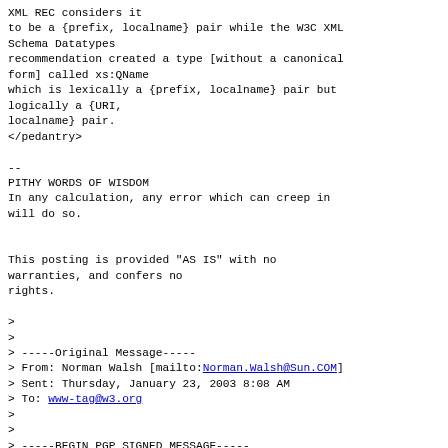XML REC considers it
to be a {prefix, localname} pair while the W3C XML
Schema Datatypes
recommendation created a type [without a canonical
form] called xs:QName
which is lexically a {prefix, localname} pair but
logically a {URI,
localname} pair.
</pedantry>

--
PITHY WORDS OF WISDOM
In any calculation, any error which can creep in
will do so.


This posting is provided "AS IS" with no
warranties, and confers no
rights.

>
>
> -----Original Message-----
> From: Norman Walsh [mailto:Norman.Walsh@Sun.COM]
> Sent: Thursday, January 23, 2003 8:08 AM
> To: www-tag@w3.org
>
>
> -----BEGIN PGP SIGNED MESSAGE-----